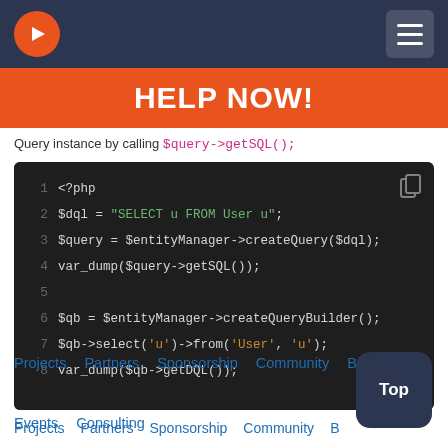[Figure (screenshot): Navigation bar with orange circular logo with arrow and hamburger menu button on dark navy background]
HELP NOW!
Query instance by calling $query->getSQL().
[Figure (screenshot): PHP code block on dark background showing DQL and QueryBuilder usage: <?php, $dql = "SELECT u FROM User u";, $query = $entityManager->createQuery($dql);, var_dump($query->getSQL());, $qb = $entityManager->createQueryBuilder();, $qb->select('u')->from('User', 'u');, var_dump($qb->getDQL());]
Projects  Partners  Sponsorship  Community  B...  Events  Consulting
Top